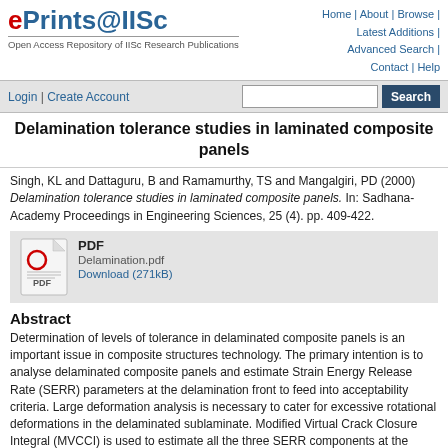ePrints@IISc — Open Access Repository of IISc Research Publications | Home | About | Browse | Latest Additions | Advanced Search | Contact | Help
Login | Create Account [Search box] [Search button]
Delamination tolerance studies in laminated composite panels
Singh, KL and Dattaguru, B and Ramamurthy, TS and Mangalgiri, PD (2000) Delamination tolerance studies in laminated composite panels. In: Sadhana-Academy Proceedings in Engineering Sciences, 25 (4). pp. 409-422.
[Figure (other): PDF file icon with red circle O and PDF label text]
PDF
Delamination.pdf
Download (271kB)
Abstract
Determination of levels of tolerance in delaminated composite panels is an important issue in composite structures technology. The primary intention is to analyse delaminated composite panels and estimate Strain Energy Release Rate (SERR) parameters at the delamination front to feed into acceptability criteria. Large deformation analysis is necessary to cater for excessive rotational deformations in the delaminated sublaminate. Modified Virtual Crack Closure Integral (MVCCI) is used to estimate all the three SERR components at the delamination front from the finite element output containing